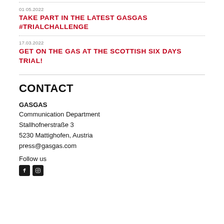01 05.2022
TAKE PART IN THE LATEST GASGAS #TRIALCHALLENGE
17.03.2022
GET ON THE GAS AT THE SCOTTISH SIX DAYS TRIAL!
CONTACT
GASGAS
Communication Department
Stallhofnerstraße 3
5230 Mattighofen, Austria
press@gasgas.com
Follow us